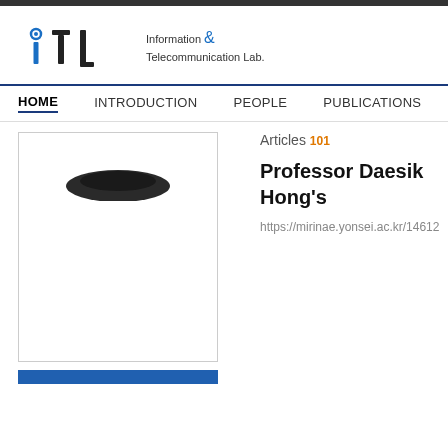[Figure (logo): ITL Information & Telecommunication Lab logo]
HOME   INTRODUCTION   PEOPLE   PUBLICATIONS   R
Articles 101
Professor Daesik Hong's
https://mirinae.yonsei.ac.kr/14612
[Figure (photo): Portrait photo placeholder with dark hair silhouette at top]
[Figure (other): Blue strip banner at bottom]